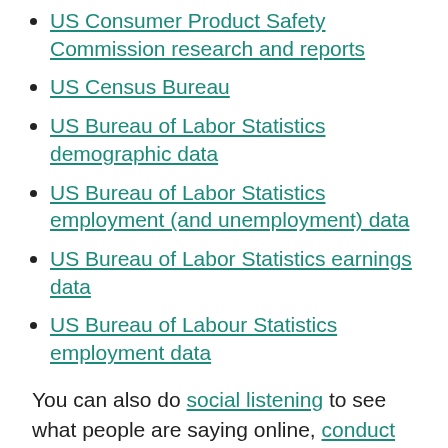US Consumer Product Safety Commission research and reports
US Census Bureau
US Bureau of Labor Statistics demographic data
US Bureau of Labor Statistics employment (and unemployment) data
US Bureau of Labor Statistics earnings data
US Bureau of Labour Statistics employment data
You can also do social listening to see what people are saying online, conduct SEO research to see what people are searching for, and check customer reviews to find out how people